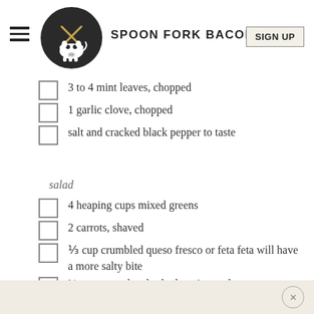SPOON FORK BACON | SIGN UP
3 to 4 mint leaves, chopped
1 garlic clove, chopped
salt and cracked black pepper to taste
salad
4 heaping cups mixed greens
2 carrots, shaved
⅓ cup crumbled queso fresco or feta feta will have a more salty bite
¼ cup toasted and salted pepita seeds
edible flowers, optional
Fresh cracked black pepper